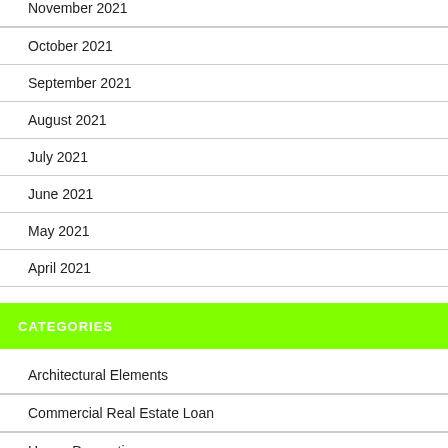November 2021
October 2021
September 2021
August 2021
July 2021
June 2021
May 2021
April 2021
CATEGORIES
Architectural Elements
Commercial Real Estate Loan
House Decoration